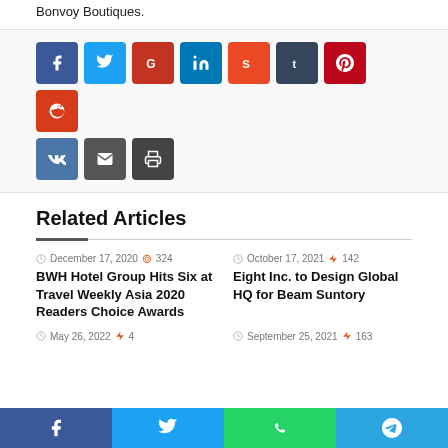Bonvoy Boutiques.
[Figure (infographic): Social media share buttons: Facebook, Twitter, Google+, LinkedIn, StumbleUpon, Tumblr, Pinterest, Reddit, VK, Email, Print]
Related Articles
December 17, 2020 324
BWH Hotel Group Hits Six at Travel Weekly Asia 2020 Readers Choice Awards
October 17, 2021 142
Eight Inc. to Design Global HQ for Beam Suntory
May 26, 2022
September 25, 2021 163
[Figure (infographic): Bottom navigation bar with Facebook, Twitter, WhatsApp, Telegram icons]